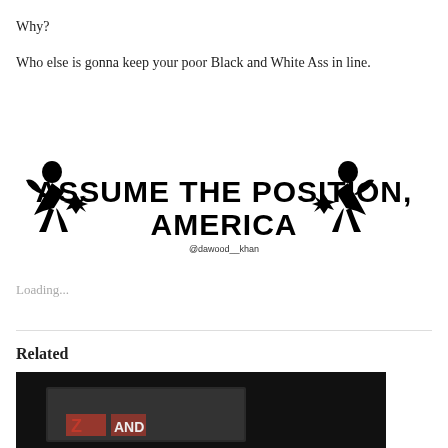Why?
Who else is gonna keep your poor Black and White Ass in line.
[Figure (illustration): Black and white graphic reading 'ASSUME THE POSITION, AMERICA' with silhouette figures on either side, watermarked @dawood__khan]
Loading...
Related
[Figure (photo): Dark photo partially visible at bottom of page showing a sign]